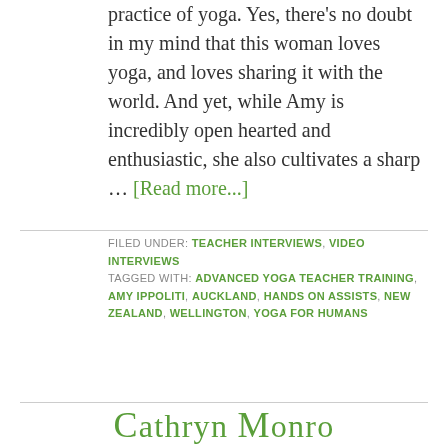practice of yoga. Yes, there's no doubt in my mind that this woman loves yoga, and loves sharing it with the world. And yet, while Amy is incredibly open hearted and enthusiastic, she also cultivates a sharp … [Read more...]
FILED UNDER: TEACHER INTERVIEWS, VIDEO INTERVIEWS
TAGGED WITH: ADVANCED YOGA TEACHER TRAINING, AMY IPPOLITI, AUCKLAND, HANDS ON ASSISTS, NEW ZEALAND, WELLINGTON, YOGA FOR HUMANS
Cathryn Monro